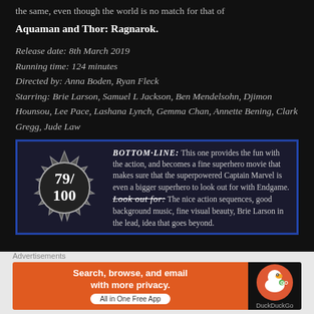the same, even though the world is no match for that of Aquaman and Thor: Ragnarok.
Release date: 8th March 2019
Running time: 124 minutes
Directed by: Anna Boden, Ryan Fleck
Starring: Brie Larson, Samuel L Jackson, Ben Mendelsohn, Djimon Hounsou, Lee Pace, Lashana Lynch, Gemma Chan, Annette Bening, Clark Gregg, Jude Law
[Figure (infographic): Score badge showing 79/100 in a starburst shape with bottom-line review text for Captain Marvel. BOTTOM-LINE text and Look out for section visible.]
Advertisements
[Figure (infographic): DuckDuckGo advertisement banner: Search, browse, and email with more privacy. All in One Free App.]